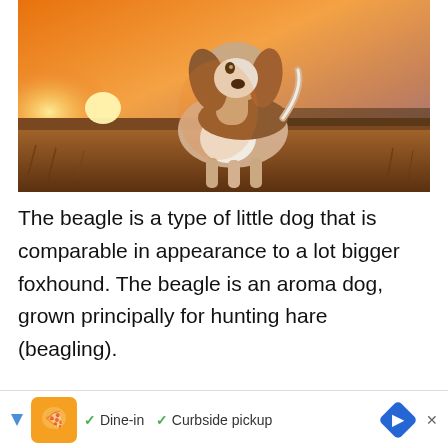[Figure (photo): A beagle puppy standing in a golden field at sunset, looking upward with floppy ears and a white and brown coat. Warm orange and purple sky in background.]
The beagle is a type of little dog that is comparable in appearance to a lot bigger foxhound. The beagle is an aroma dog, grown principally for hunting hare (beagling).
Beagles are active companions for children
[Figure (other): Advertisement bar: orange icon with stylized face logo, checkmarks for Dine-in and Curbside pickup, blue diamond navigation arrow icon]